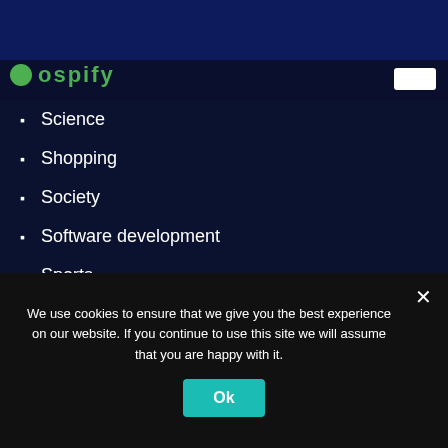[Figure (logo): Ospify logo with green dot and green text]
Science
Shopping
Society
Software development
Sports
Startups
Technology
Travelling
Transport
We use cookies to ensure that we give you the best experience on our website. If you continue to use this site we will assume that you are happy with it.